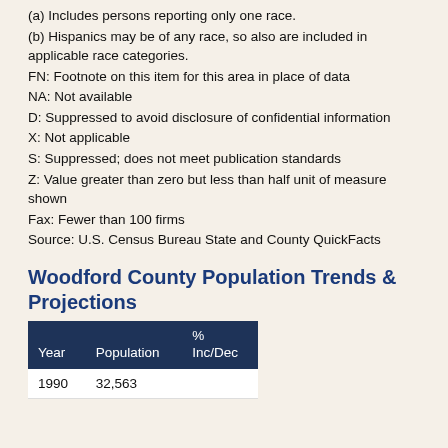(a) Includes persons reporting only one race.
(b) Hispanics may be of any race, so also are included in applicable race categories.
FN: Footnote on this item for this area in place of data
NA: Not available
D: Suppressed to avoid disclosure of confidential information
X: Not applicable
S: Suppressed; does not meet publication standards
Z: Value greater than zero but less than half unit of measure shown
Fax: Fewer than 100 firms
Source: U.S. Census Bureau State and County QuickFacts
Woodford County Population Trends & Projections
| Year | Population | % Inc/Dec |
| --- | --- | --- |
| 1990 | 32,563 |  |